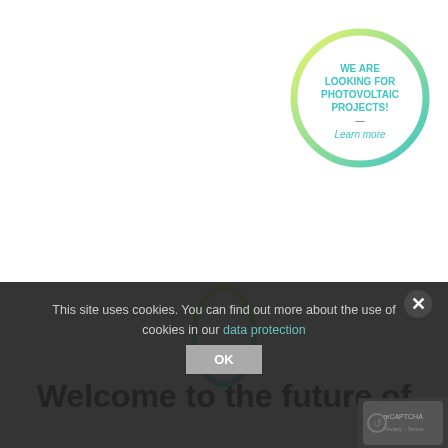[Figure (logo): Circular badge with gradient border (yellow to teal). Text inside reads: 'WE ARE LOOKING FOR PHOTOVOLTAIC PROJECTS!' and 'Learn more' in teal on white background.]
[Figure (logo): Oval/egg shaped outline logo with yellow-to-teal gradient stroke, centered on page above dark overlay.]
This site uses cookies. You can find out more about the use of cookies in our data protection
OK
Welcome to the future of